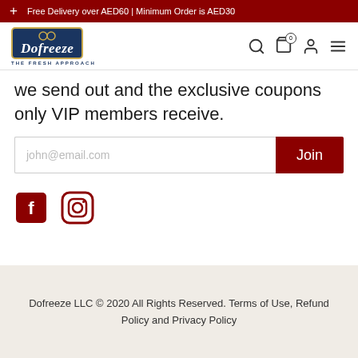Free Delivery over AED60 | Minimum Order is AED30
[Figure (logo): Dofreeze logo - blue box with gold border, italic script text 'Dofreeze', tagline 'The Fresh Approach']
we send out and the exclusive coupons only VIP members receive.
john@email.com
Join
[Figure (illustration): Facebook icon (red square with F) and Instagram icon (red circle with camera outline)]
Dofreeze LLC © 2020 All Rights Reserved. Terms of Use, Refund Policy and Privacy Policy